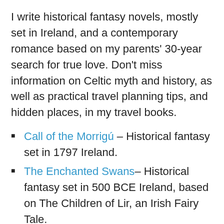I write historical fantasy novels, mostly set in Ireland, and a contemporary romance based on my parents' 30-year search for true love. Don't miss information on Celtic myth and history, as well as practical travel planning tips, and hidden places, in my travel books.
Call of the Morrigú – Historical fantasy set in 1797 Ireland.
The Enchanted Swans– Historical fantasy set in 500 BCE Ireland, based on The Children of Lir, an Irish Fairy Tale.
Better To Have Loved– Contemporary romance based on the true story of my parents' 30-year search for love
Legacy of Hunger– Historical fantasy set in 1846 Ireland. Druid's Brooch #1 (Now available in PRINT!)
Legacy of Truth– Historical fantasy set around 1800 Ireland. Druid's Brooch #2